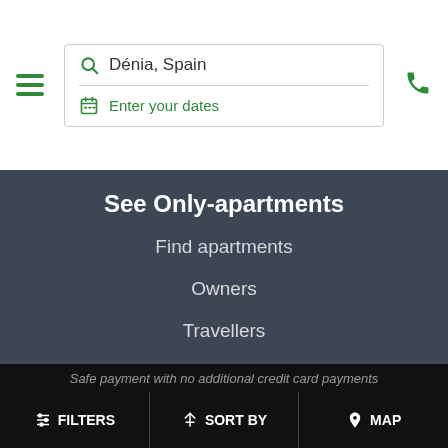Dénia, Spain | Enter your dates
See Only-apartments
Find apartments
Owners
Travellers
Affiliates
Media
Blog
[Figure (illustration): Lock/security icon in grey]
Safe payment with no additional credit card payments
FILTERS | SORT BY | MAP